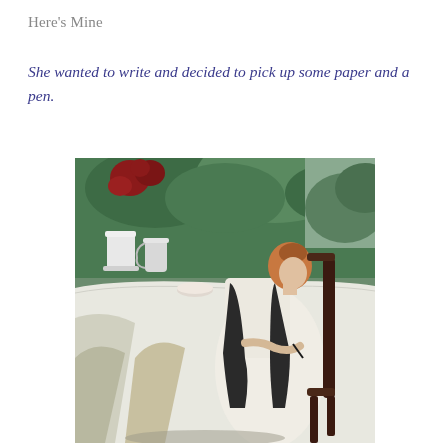Here's Mine
She wanted to write and decided to pick up some paper and a pen.
[Figure (illustration): A classical painting of a young woman with red hair sitting at an outdoor table covered with a white cloth, writing with a pen. A white vase with red flowers and a white pitcher are on the table, along with a small bowl. A dark wooden chair is behind her. The background shows lush green garden foliage.]